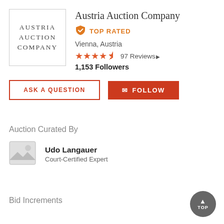[Figure (logo): Austria Auction Company logo: text logo with 'AUSTRIA AUCTION COMPANY' in spaced serif capitals inside a square border]
Austria Auction Company
TOP RATED
Vienna, Austria
97 Reviews
1,153 Followers
ASK A QUESTION
FOLLOW
Auction Curated By
Udo Langauer
Court-Certified Expert
Bid Increments